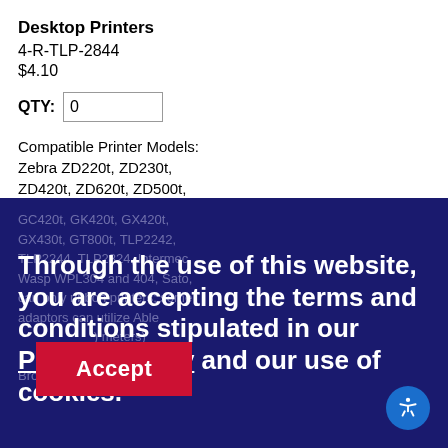Desktop Printers
4-R-TLP-2844
$4.10
QTY: 0
Compatible Printer Models:
Zebra ZD220t, ZD230t,
ZD420t, ZD620t, ZD500t,
GC420t, GK420t, GX420t,
GX430t, GT800t, TLP2242,
TLP2244, TLP2824, Intermec,
Wasp WPL304 and 404, Sato,
can only ribbon printers, some
adaptors can utilize Able
meters), Able Ribbon
Browse our wide
Through the use of this website, you are accepting the terms and conditions stipulated in our Privacy Policy and our use of cookies.
Accept